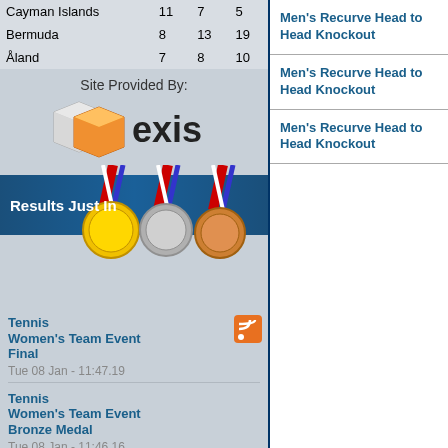| Country | Gold | Silver | Bronze |
| --- | --- | --- | --- |
| Cayman Islands | 11 | 7 | 5 |
| Bermuda | 8 | 13 | 19 |
| Åland | 7 | 8 | 10 |
[Figure (logo): Exis logo - site provided by Exis]
[Figure (illustration): Results Just In banner with gold, silver, and bronze medals on ribbons]
Tennis Women's Team Event Final
Tue 08 Jan - 11:47.19
Tennis Women's Team Event Bronze Medal
Tue 08 Jan - 11:46.16
Tennis Women's Team Event Semi Finals
Tue 08 Jan - 11:44.46
Tennis Women's Team Event
Men's Recurve Head to Head Knockout
Men's Recurve Head to Head Knockout
Men's Recurve Head to Head Knockout